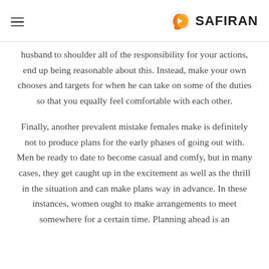SAFIRAN
husband to shoulder all of the responsibility for your actions, end up being reasonable about this. Instead, make your own chooses and targets for when he can take on some of the duties so that you equally feel comfortable with each other.
Finally, another prevalent mistake females make is definitely not to produce plans for the early phases of going out with. Men be ready to date to become casual and comfy, but in many cases, they get caught up in the excitement as well as the thrill in the situation and can make plans way in advance. In these instances, women ought to make arrangements to meet somewhere for a certain time. Planning ahead is an